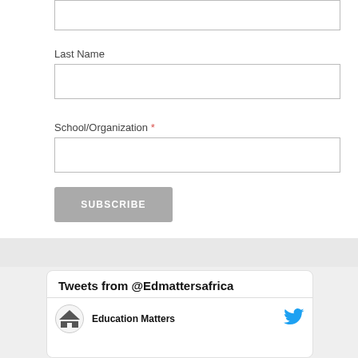Last Name
School/Organization *
SUBSCRIBE
Tweets from @Edmattersafrica
Education Matters